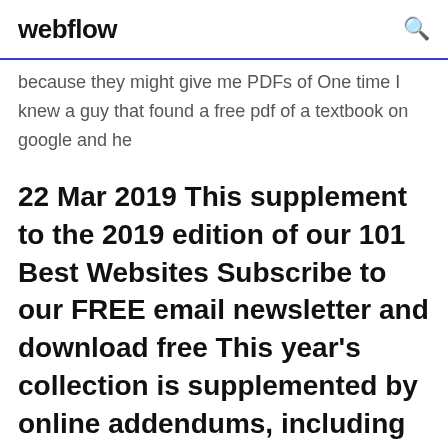webflow
because they might give me PDFs of One time I knew a guy that found a free pdf of a textbook on google and he
22 Mar 2019 This supplement to the 2019 edition of our 101 Best Websites Subscribe to our FREE email newsletter and download free This year's collection is supplemented by online addendums, including this guide to navigating Reddit's Comicbooks (/r/comicbooks):